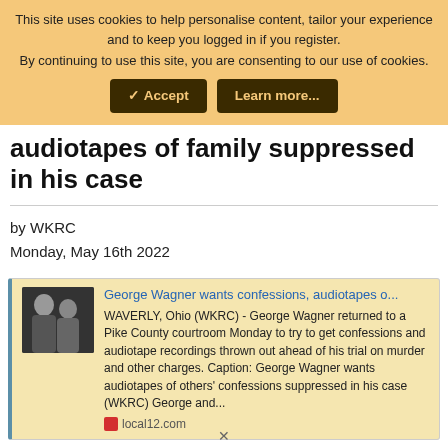This site uses cookies to help personalise content, tailor your experience and to keep you logged in if you register. By continuing to use this site, you are consenting to our use of cookies.
✓ Accept | Learn more...
audiotapes of family suppressed in his case
by WKRC
Monday, May 16th 2022
[Figure (screenshot): Preview card showing a news article: 'George Wagner wants confessions, audiotapes o...' with thumbnail photo of two men in suits, article text from WAVERLY, Ohio (WKRC), and local12.com source icon]
local12.com